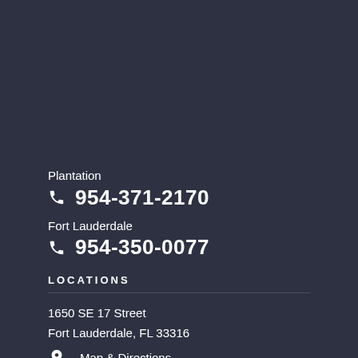Plantation
📞 954-371-2170
Fort Lauderdale
📞 954-350-0077
LOCATIONS
1650 SE 17 Street
Fort Lauderdale, FL 33316
Map & Directions
300 NW 70th Ave
Site 100